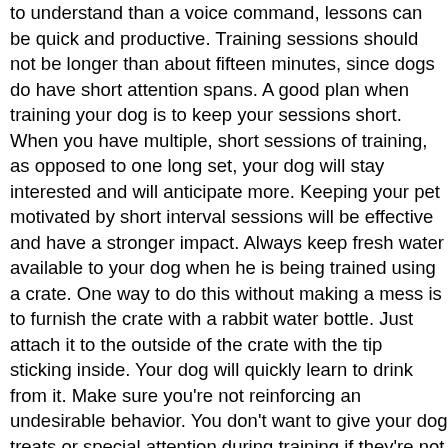to understand than a voice command, lessons can be quick and productive. Training sessions should not be longer than about fifteen minutes, since dogs do have short attention spans. A good plan when training your dog is to keep your sessions short. When you have multiple, short sessions of training, as opposed to one long set, your dog will stay interested and will anticipate more. Keeping your pet motivated by short interval sessions will be effective and have a stronger impact. Always keep fresh water available to your dog when he is being trained using a crate. One way to do this without making a mess is to furnish the crate with a rabbit water bottle. Just attach it to the outside of the crate with the tip sticking inside. Your dog will quickly learn to drink from it. Make sure you're not reinforcing an undesirable behavior. You don't want to give your dog treats or special attention during training if they're not performing the task properly. If you do, then they'll think you're pleased and continue to do things the way they're doing them, and they won't improve. Go through the door before your dog, eat your own dinner first and always make sure that you win tug-of-war, by taking away the toy when you're done. This all asserts that you are the pack leader and your dog is subordinate. This will help curb other obedience problems and help in other aspects of training because your dog realizes that he MUST do what you say. It's how he's hard-wired. You should make sure to eat your own